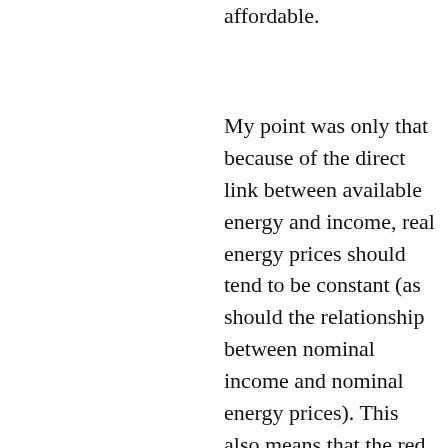affordable.
My point was only that because of the direct link between available energy and income, real energy prices should tend to be constant (as should the relationship between nominal income and nominal energy prices). This also means that the red and blue areas between the curves in Figure 9 should be roughly